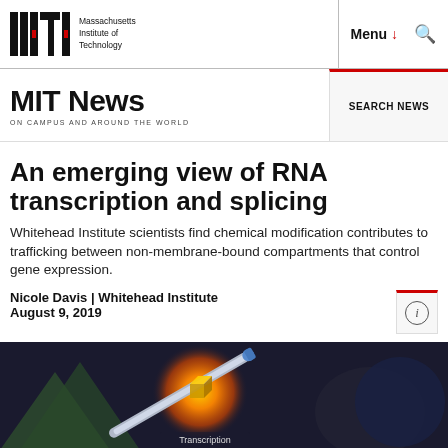MIT logo | Massachusetts Institute of Technology | Menu | Search
MIT News ON CAMPUS AND AROUND THE WORLD | SEARCH NEWS
An emerging view of RNA transcription and splicing
Whitehead Institute scientists find chemical modification contributes to trafficking between non-membrane-bound compartments that control gene expression.
Nicole Davis | Whitehead Institute
August 9, 2019
[Figure (illustration): Scientific illustration showing RNA transcription, with a molecular structure/needle-like object against a dark background with an orange glowing sphere and dark mountain-like shapes. Text 'Transcription' visible at the bottom.]